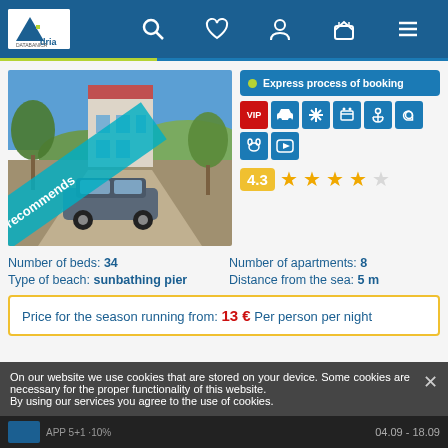Adria Databanica - navigation header with search, favorites, profile, cart, menu icons
[Figure (photo): Exterior photo of a villa/apartment building with a parked Audi SUV on a gravel road surrounded by olive trees, with a 'recommends' diagonal teal banner overlay]
Express process of booking
VIP, car parking, air conditioning, kitchen, anchor/marina, at-sign/internet, pet-friendly, YouTube icons
4.3 rating with 4.5 stars out of 5
Number of beds: 34
Number of apartments: 8
Type of beach: sunbathing pier
Distance from the sea: 5 m
Price for the season running from: 13 € Per person per night
On our website we use cookies that are stored on your device. Some cookies are necessary for the proper functionality of this website. By using our services you agree to the use of cookies.
APP 5+1 ·10% · 04.09 - 18.09